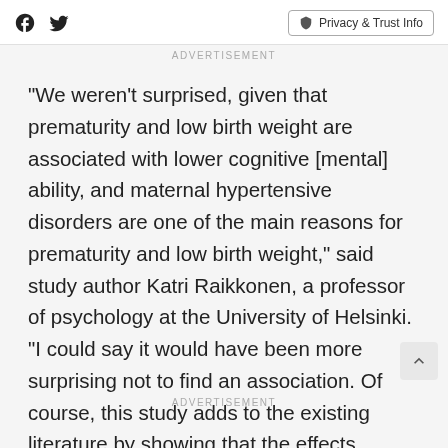Social icons and Privacy & Trust Info button
ADVERTISEMENT
"We weren't surprised, given that prematurity and low birth weight are associated with lower cognitive [mental] ability, and maternal hypertensive disorders are one of the main reasons for prematurity and low birth weight," said study author Katri Raikkonen, a professor of psychology at the University of Helsinki. "I could say it would have been more surprising not to find an association. Of course, this study adds to the existing literature by showing that the effects persist
ADVERTISEMENT